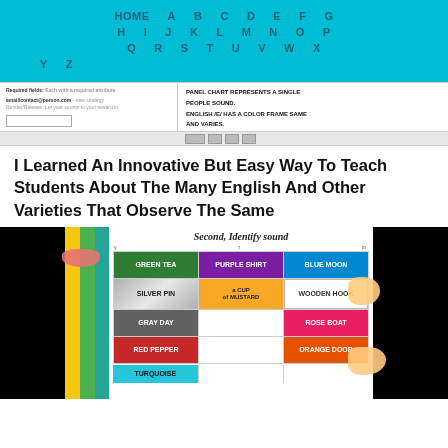HOME A B C D E F G H I J K L M N O P Q R S T U V W X Y Z
[Figure (screenshot): Screenshot of a web form or application showing text fields and navigation buttons at the bottom. Right panel shows bold text: PANEL CHART REPRESENTS A SINGLE PEOPLE SOUND, ENGLISH /E/ HAS A COLOR FRAME SAME AND VARIES.]
I Learned An Innovative But Easy Way To Teach Students About The Many English And Other Varieties That Observe The Same
[Figure (infographic): Color chart showing 'Second, Identify sound' with colored cells: GREEN TEA (dark green), PURPLE SHIRT (purple), BLUE MOON (blue), SILVER PIN (silver/metallic), WOODEN HOOK (white/gray), GRAY DAY (dark gray), a CUP of MUSTARD (yellow), ROSE BOAT (pink), RED PEPPER (red), ORANGE DOOR (orange), TURQUOISE (cyan). Left side shows color strips (yellow, green, teal, gray) with black bars. Right side has black bar. Lips and hand decorations visible.]